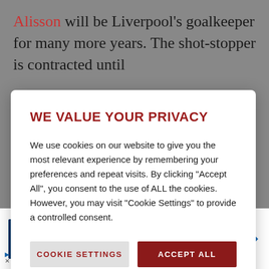Alisson will be Liverpool's goalkeeper for many more years. The shot-stopper is contracted until
WE VALUE YOUR PRIVACY
We use cookies on our website to give you the most relevant experience by remembering your preferences and repeat visits. By clicking "Accept All", you consent to the use of ALL the cookies. However, you may visit "Cookie Settings" to provide a controlled consent.
COOKIE SETTINGS   ACCEPT ALL
[Figure (screenshot): Advertisement banner: Petco logo, text 'Get Your Pet Ready For Summer', subtext 'Petco', and a blue navigation arrow icon on the right.]